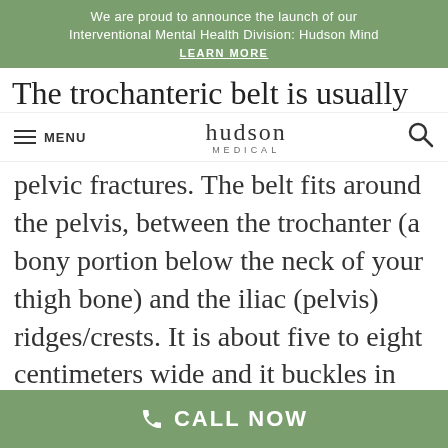We are proud to announce the launch of our Interventional Mental Health Division: Hudson Mind
LEARN MORE
The trochanteric belt is usually
≡ MENU   hudson MEDICAL   🔍
pelvic fractures. The belt fits around the pelvis, between the trochanter (a bony portion below the neck of your thigh bone) and the iliac (pelvis) ridges/crests. It is about five to eight centimeters wide and it buckles in front, just like a regular belt.
Sacroiliac and Lumbosacral Belts
CALL NOW